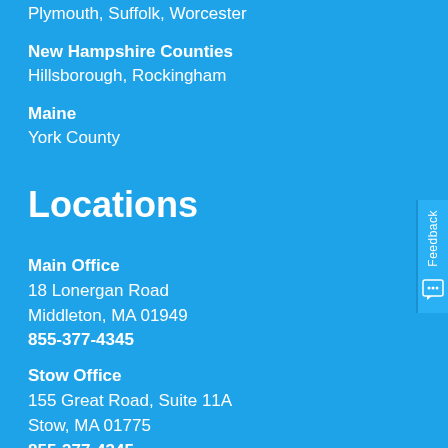Plymouth, Suffolk, Worcester
New Hampshire Counties
Hillsborough, Rockingham
Maine
York County
Locations
Main Office
18 Lonergan Road
Middleton, MA 01949
855-377-4345
Stow Office
155 Great Road, Suite 11A
Stow, MA 01775
855-377-4345
Lakeville Office
271 Bedford Street, Unit #5